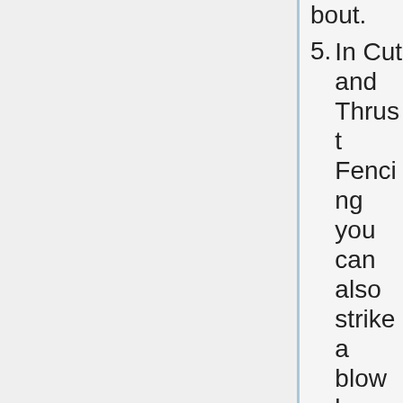bout.
5. In Cut and Thrust Fencing you can also strike a blow by using a slashing cut that makes contact